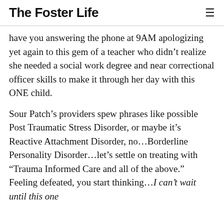The Foster Life
have you answering the phone at 9AM apologizing yet again to this gem of a teacher who didn’t realize she needed a social work degree and near correctional officer skills to make it through her day with this ONE child.
Sour Patch’s providers spew phrases like possible Post Traumatic Stress Disorder, or maybe it’s Reactive Attachment Disorder, no…Borderline Personality Disorder…let’s settle on treating with “Trauma Informed Care and all of the above.” Feeling defeated, you start thinking…I can’t wait until this one